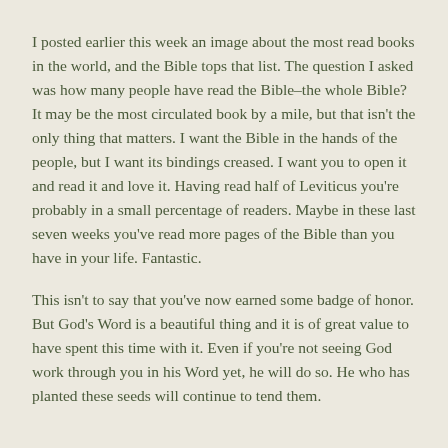I posted earlier this week an image about the most read books in the world, and the Bible tops that list. The question I asked was how many people have read the Bible–the whole Bible? It may be the most circulated book by a mile, but that isn't the only thing that matters. I want the Bible in the hands of the people, but I want its bindings creased. I want you to open it and read it and love it. Having read half of Leviticus you're probably in a small percentage of readers. Maybe in these last seven weeks you've read more pages of the Bible than you have in your life. Fantastic.
This isn't to say that you've now earned some badge of honor. But God's Word is a beautiful thing and it is of great value to have spent this time with it. Even if you're not seeing God work through you in his Word yet, he will do so. He who has planted these seeds will continue to tend them.